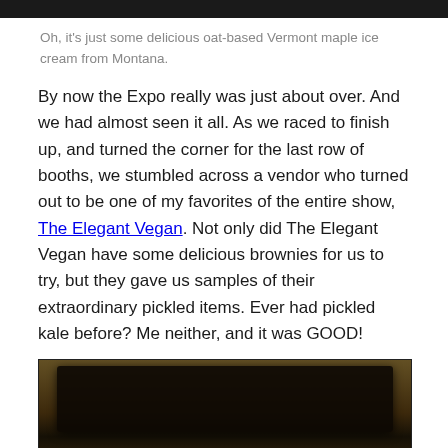[Figure (photo): Top portion of a photo, dark background, cropped at top of page]
Oh, it's just some delicious oat-based Vermont maple ice cream from Montana.
By now the Expo really was just about over. And we had almost seen it all. As we raced to finish up, and turned the corner for the last row of booths, we stumbled across a vendor who turned out to be one of my favorites of the entire show, The Elegant Vegan. Not only did The Elegant Vegan have some delicious brownies for us to try, but they gave us samples of their extraordinary pickled items. Ever had pickled kale before? Me neither, and it was GOOD!
[Figure (photo): Close-up photo of dark brownies in a clear plastic container, with red and white striped packaging visible at bottom]